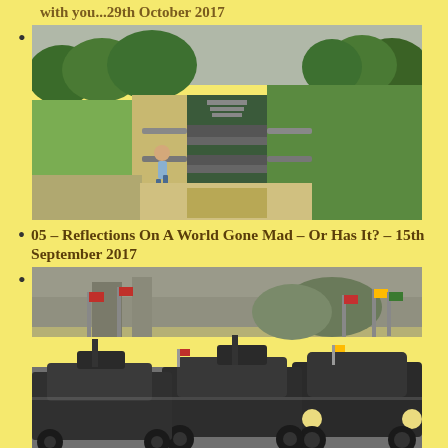with you...29th October 2017
[Figure (photo): Canal lock staircase with a man walking across a lock gate, green fields and trees in the background, pathway alongside the canal]
05 – Reflections On A World Gone Mad – Or Has It? – 15th September 2017
[Figure (photo): Military convoy of armoured vehicles and Humvees driving along a road with flags, in a parade or military demonstration]
06 – Oh Land of Smiles – I grieve for thee